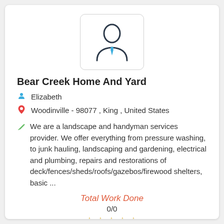[Figure (illustration): Generic person/user silhouette icon with blue tie inside a rounded rectangle box]
Bear Creek Home And Yard
Elizabeth
Woodinville - 98077 , King , United States
We are a landscape and handyman services provider. We offer everything from pressure washing, to junk hauling, landscaping and gardening, electrical and plumbing, repairs and restorations of deck/fences/sheds/roofs/gazebos/firewood shelters, basic ...
Total Work Done
0/0
★★★★★
$ (USD) 25 per Hour